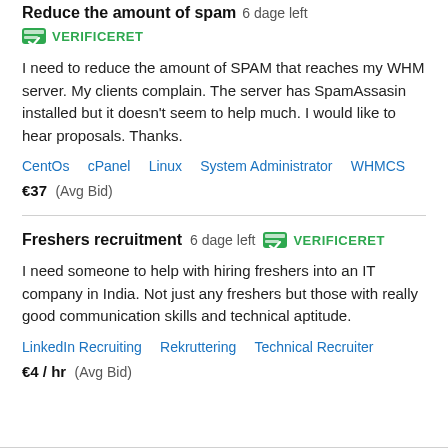Reduce the amount of spam  6 dage left  VERIFICERET
I need to reduce the amount of SPAM that reaches my WHM server. My clients complain. The server has SpamAssasin installed but it doesn't seem to help much. I would like to hear proposals. Thanks.
CentOs   cPanel   Linux   System Administrator   WHMCS
€37  (Avg Bid)
Freshers recruitment  6 dage left  VERIFICERET
I need someone to help with hiring freshers into an IT company in India. Not just any freshers but those with really good communication skills and technical aptitude.
LinkedIn Recruiting   Rekruttering   Technical Recruiter
€4 / hr  (Avg Bid)